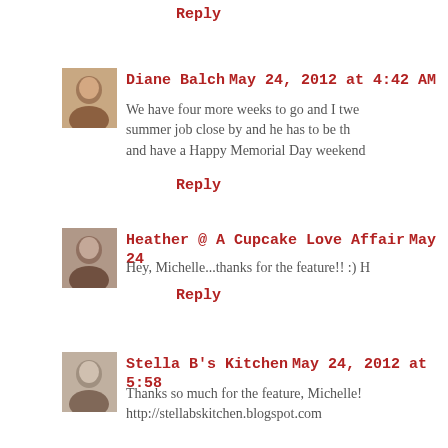Reply
[Figure (photo): Avatar photo of Diane Balch]
Diane Balch May 24, 2012 at 4:42 AM
We have four more weeks to go and I twe... summer job close by and he has to be th... and have a Happy Memorial Day weekend...
Reply
[Figure (photo): Avatar photo of Heather @ A Cupcake Love Affair]
Heather @ A Cupcake Love Affair May 24...
Hey, Michelle...thanks for the feature!! :) H...
Reply
[Figure (photo): Avatar photo of Stella B's Kitchen]
Stella B's Kitchen May 24, 2012 at 5:58...
Thanks so much for the feature, Michelle!... http://stellabskitchen.blogspot.com